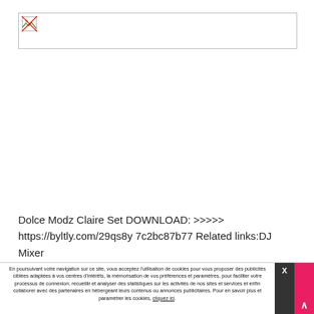[Figure (photo): Broken image placeholder — a small broken image icon in the top-left of a bordered rectangle]
Dolce Modz Claire Set DOWNLOAD: >>>>>
https://byltly.com/29qs8y 7c2bc87b77 Related links:DJ Mixer
En poursuivant votre navigation sur ce site, vous acceptez l'utilisation de cookies pour vous proposer des publicités ciblées adaptées à vos centres d'intérêts, la mémorisation de vos préférences et paramètres, pour faciliter votre processus de connexion, recueillir et analyser des statistiques sur les activités de nos sites et services et enfin collaborer avec des partenaires en hébergeant leurs contenus ou annonces publicitaires. Pour en savoir plus et paramétrer les cookies, cliquez ici.